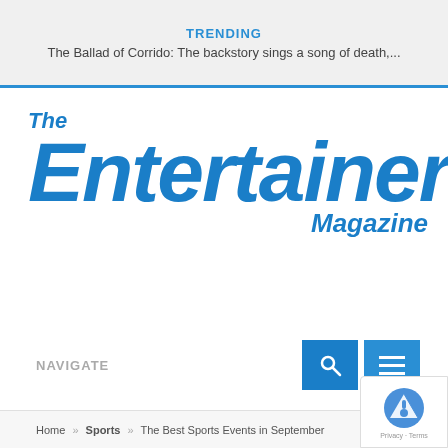TRENDING
The Ballad of Corrido: The backstory sings a song of death,...
[Figure (logo): The Entertainer! Magazine logo in bold blue italic font]
NAVIGATE
Home » Sports » The Best Sports Events in September